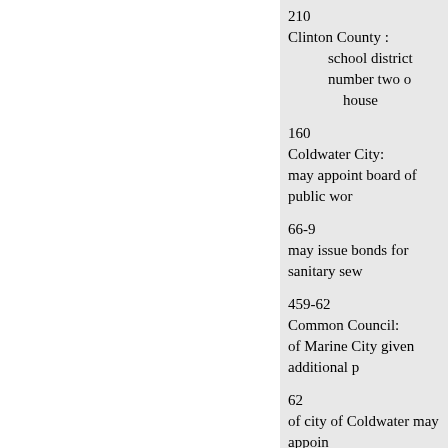210
Clinton County :
school district number two o
house
160
Coldwater City:
may appoint board of public wor
66-9
may issue bonds for sanitary sew
459-62
Common Council:
of Marine City given additional p
62
of city of Coldwater may appoin
66-9
action of, of East Tawas, Iosco co
Compensation :
providing for, and clerk of comm
210
Compulsory Education :